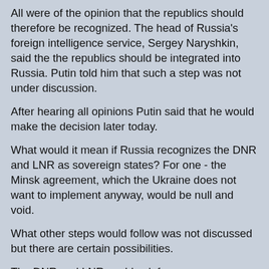All were of the opinion that the republics should therefore be recognized. The head of Russia's foreign intelligence service, Sergey Naryshkin, said the the republics should be integrated into Russia. Putin told him that such a step was not under discussion.
After hearing all opinions Putin said that he would make the decision later today.
What would it mean if Russia recognizes the DNR and LNR as sovereign states? For one - the Minsk agreement, which the Ukraine does not want to implement anyway, would be null and void.
What other steps would follow was not discussed but there are certain possibilities.
The DNR and LNR could ask for a common defense agreement with the Russian Federation. The Russian military could then move into the DNR and LNR.
Neither the DNR nor the LNR incorporate all land that defines the formal administrative Donetzk and Luhansk regions of the Ukraine. The republics, with Russia'S help, could try to extend the border of DNR and LNR to the original administrative borders of